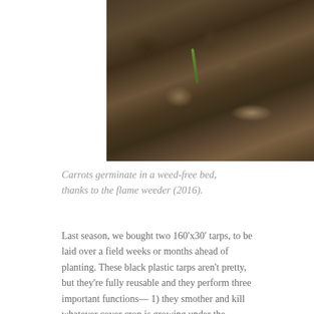[Figure (photo): Close-up photograph of soil with a carrot seedling and small green shoots germinating in a weed-free garden bed (2016).]
Carrots germinate in a weed-free bed, thanks to the flame weeder (2016).
Last season, we bought two 160'x30' tarps, to be laid over a field weeks or months ahead of planting. These black plastic tarps aren't pretty, but they're fully reusable and they perform three important functions— 1) they smother and kill whatever cover crop is growing under the